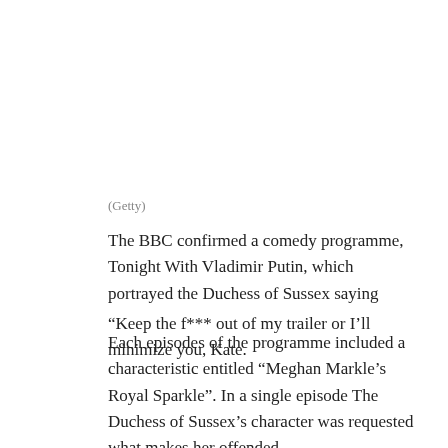(Getty)
The BBC confirmed a comedy programme, Tonight With Vladimir Putin, which portrayed the Duchess of Sussex saying “Keep the f*** out of my trailer or I’ll minimize you, Kate.
Each episodes of the programme included a characteristic entitled “Meghan Markle’s Royal Sparkle”. In a single episode The Duchess of Sussex’s character was requested what makes her offended.